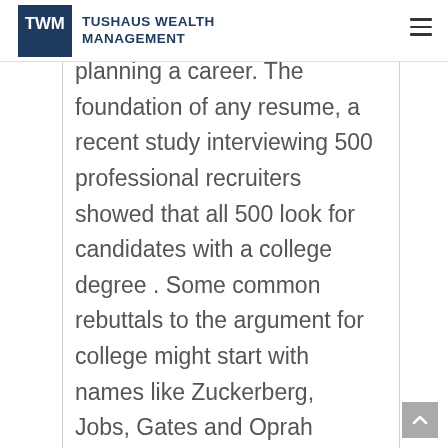Tushaus Wealth Management
planning a career. The foundation of any resume, a recent study interviewing 500 professional recruiters showed that all 500 look for candidates with a college degree . Some common rebuttals to the argument for college might start with names like Zuckerberg, Jobs, Gates and Oprah